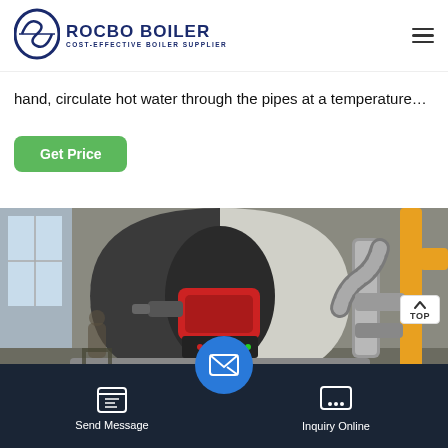ROCBO BOILER - COST-EFFECTIVE BOILER SUPPLIER
hand, circulate hot water through the pipes at a temperature…
Get Price
[Figure (photo): Industrial boiler equipment in a factory setting, showing a large cylindrical boiler with a red burner unit and connected metal pipes and ducts. Yellow gas pipes visible on the right side.]
Send Message | Inquiry Online